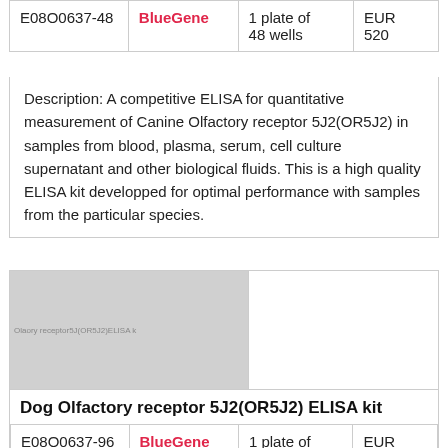|  |  |  |  |
| --- | --- | --- | --- |
| E08O0637-48 | BlueGene | 1 plate of 48 wells | EUR 520 |
Description: A competitive ELISA for quantitative measurement of Canine Olfactory receptor 5J2(OR5J2) in samples from blood, plasma, serum, cell culture supernatant and other biological fluids. This is a high quality ELISA kit developped for optimal performance with samples from the particular species.
[Figure (photo): Product image placeholder for Dog Olfactory receptor 5J2(OR5J2) ELISA kit with watermark text]
Dog Olfactory receptor 5J2(OR5J2) ELISA kit
|  |  |  |  |
| --- | --- | --- | --- |
| E08O0637-96 | BlueGene | 1 plate of 96 wells | EUR 685 |
Description: A competitive ELISA for quantitative